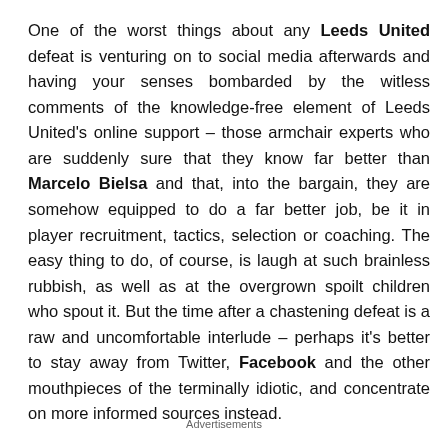One of the worst things about any Leeds United defeat is venturing on to social media afterwards and having your senses bombarded by the witless comments of the knowledge-free element of Leeds United's online support – those armchair experts who are suddenly sure that they know far better than Marcelo Bielsa and that, into the bargain, they are somehow equipped to do a far better job, be it in player recruitment, tactics, selection or coaching. The easy thing to do, of course, is laugh at such brainless rubbish, as well as at the overgrown spoilt children who spout it. But the time after a chastening defeat is a raw and uncomfortable interlude – perhaps it's better to stay away from Twitter, Facebook and the other mouthpieces of the terminally idiotic, and concentrate on more informed sources instead.
Advertisements